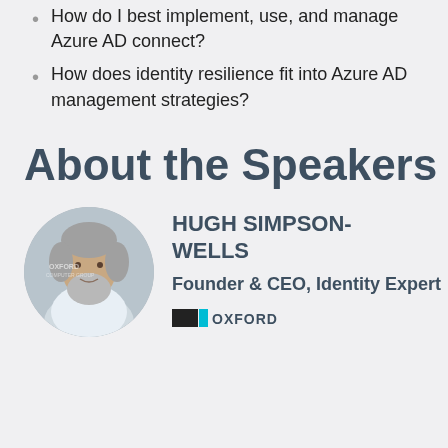How do I best implement, use, and manage Azure AD connect?
How does identity resilience fit into Azure AD management strategies?
About the Speakers
[Figure (photo): Headshot of Hugh Simpson-Wells, a man with grey hair and beard, smiling, with Oxford Computer Group text visible in background]
HUGH SIMPSON-WELLS
Founder & CEO, Identity Expert
[Figure (logo): Oxford Computer Group logo with black and cyan bars]